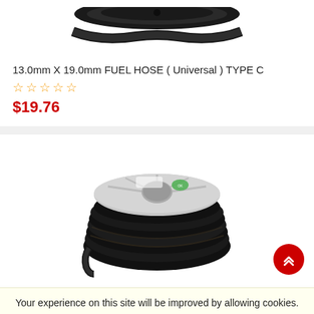[Figure (photo): Top portion of a black fuel hose reel/spool, partially cropped at the top]
13.0mm X 19.0mm FUEL HOSE ( Universal ) TYPE C
★☆☆☆☆ (5 empty stars rating)
$19.76
[Figure (photo): A large spool/reel of black rubber fuel hose coiled on a grey plastic spool, with a green label sticker visible on the top]
Your experience on this site will be improved by allowing cookies.
ALLOW COOKIES